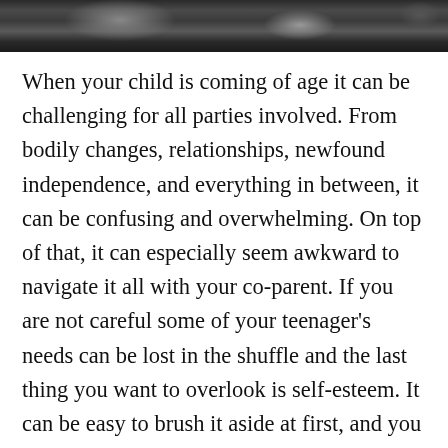[Figure (photo): Black and white photograph strip at top of page, showing partial view of people, likely a parent and teenager or young adult]
When your child is coming of age it can be challenging for all parties involved. From bodily changes, relationships, newfound independence, and everything in between, it can be confusing and overwhelming. On top of that, it can especially seem awkward to navigate it all with your co-parent. If you are not careful some of your teenager's needs can be lost in the shuffle and the last thing you want to overlook is self-esteem. It can be easy to brush it aside at first, and you can tell yourself it's just a teenage thing that everyone goes through. However, it is critical that both you and your co-parent are able to be a champion of your teen's confidence and don't neglect any signs of low self-esteem. Make no mistake, now is the time to work together to understand the importance of self-esteem. Continue reading to discover key areas to focus your attention on to best empower your young adult.